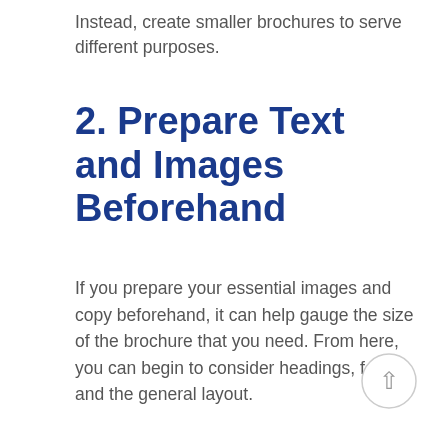Instead, create smaller brochures to serve different purposes.
2. Prepare Text and Images Beforehand
If you prepare your essential images and copy beforehand, it can help gauge the size of the brochure that you need. From here, you can begin to consider headings, fonts, and the general layout.
[Figure (other): A circular scroll-to-top button with a grey border and an upward-pointing arrow icon]